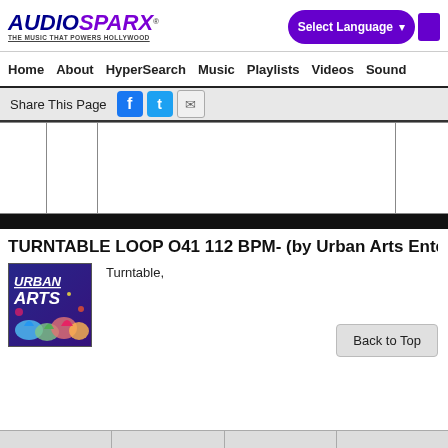AUDIOSPARX THE MUSIC THAT POWERS HOLLYWOOD — Select Language
Home  About  HyperSearch  Music  Playlists  Videos  Sound
Share This Page
[Figure (screenshot): Table/player area with column grid]
TURNTABLE LOOP O41 112 BPM- (by Urban Arts Ente
[Figure (illustration): Urban Arts album art thumbnail with graffiti style]
Turntable,
Back to Top